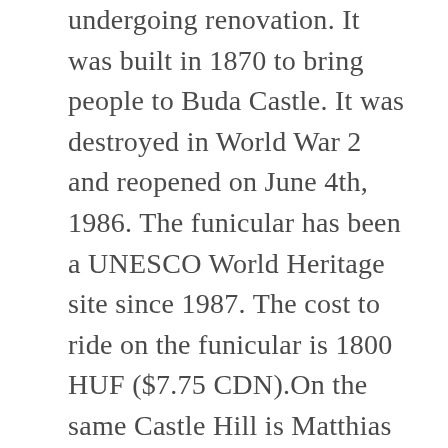undergoing renovation. It was built in 1870 to bring people to Buda Castle. It was destroyed in World War 2 and reopened on June 4th, 1986. The funicular has been a UNESCO World Heritage site since 1987. The cost to ride on the funicular is 1800 HUF ($7.75 CDN).On the same Castle Hill is Matthias Church, also known as the Church of the Assumption of the Buda Castle. It is a Roman Catholic church located in the Holy Trinity Square. It was originally built in a Romanesque style in 1015. The current building was built in 1370 in its current Gothic style and was extensively restored between 1874–1895